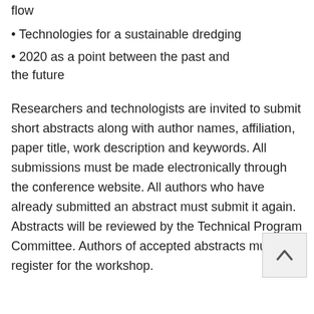flow
• Technologies for a sustainable dredging
• 2020 as a point between the past and the future
Researchers and technologists are invited to submit short abstracts along with author names, affiliation, paper title, work description and keywords. All submissions must be made electronically through the conference website. All authors who have already submitted an abstract must submit it again. Abstracts will be reviewed by the Technical Program Committee. Authors of accepted abstracts must register for the workshop.